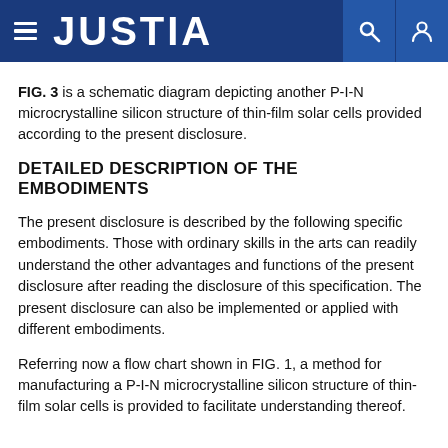JUSTIA
FIG. 3 is a schematic diagram depicting another P-I-N microcrystalline silicon structure of thin-film solar cells provided according to the present disclosure.
DETAILED DESCRIPTION OF THE EMBODIMENTS
The present disclosure is described by the following specific embodiments. Those with ordinary skills in the arts can readily understand the other advantages and functions of the present disclosure after reading the disclosure of this specification. The present disclosure can also be implemented or applied with different embodiments.
Referring now a flow chart shown in FIG. 1, a method for manufacturing a P-I-N microcrystalline silicon structure of thin-film solar cells is provided to facilitate understanding thereof.